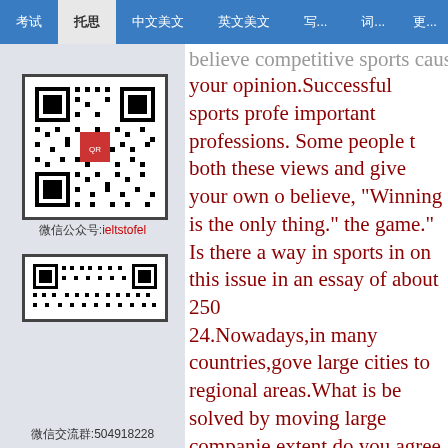believe competitive sports cause son your opinion Successful sports profe important professions. Some people t both these views and give your own o
believe, "Winning is the only thing." the game." Is there a way in sports in on this issue in an essay of about 250
24.Nowadays,in many countries,gove large cities to regional areas.What is be solved by moving large companie extent do you agree or disagree?
25.Competitiveness is a positive qual individuals? Is it a positive or negativ depend on mental attitude of the whe Some peoplethink children should lea cooperate.Express
some reasons of both views and give
[Figure (other): QR code for ieltstofel]
微信公众号:ieltstofel
[Figure (other): Second QR code]
微信交流群:504918228